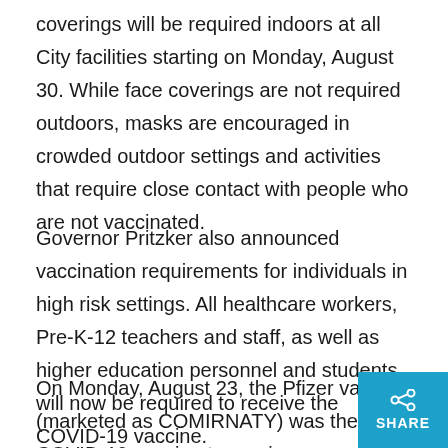coverings will be required indoors at all City facilities starting on Monday, August 30. While face coverings are not required outdoors, masks are encouraged in crowded outdoor settings and activities that require close contact with people who are not vaccinated.
Governor Pritzker also announced vaccination requirements for individuals in high risk settings. All healthcare workers, Pre-K-12 teachers and staff, as well as higher education personnel and students will now be required to receive the COVID-19 vaccine.
On Monday, August 23, the Pfizer vaccine (marketed as COMIRNATY) was the first COVID-19 vaccine to recei…